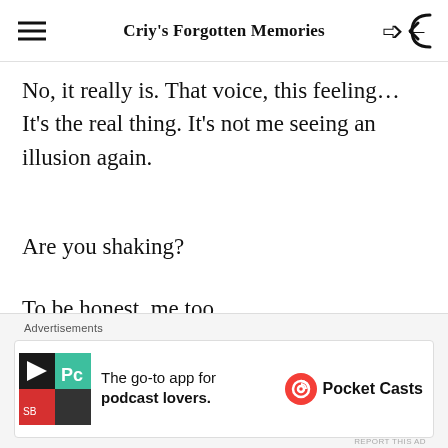Criy's Forgotten Memories
No, it really is. That voice, this feeling… It's the real thing. It's not me seeing an illusion again.
Are you shaking?
To be honest, me too.
I was constantly thinking about what I'd say to you if I could just find you, if I just could see you again…and yet all I can do is
Advertisements
The go-to app for podcast lovers. — Pocket Casts